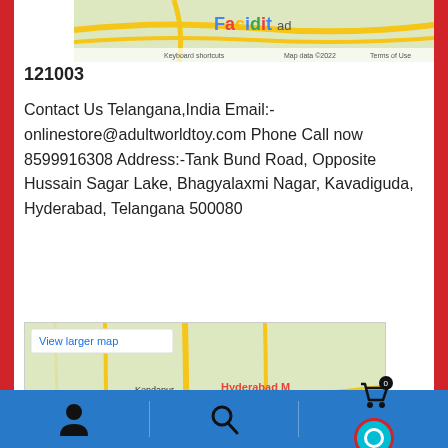[Figure (map): Partial Google Map screenshot at top, showing road/region view with Google logo and map attribution bar]
121003
Contact Us Telangana,India Email:- onlinestore@adultworldtoy.com Phone Call now 8599916308 Address:-Tank Bund Road, Opposite Hussain Sagar Lake, Bhagyalaxmi Nagar, Kavadiguda, Hyderabad, Telangana 500080
[Figure (map): Google Map screenshot showing Hyderabad area with red pin marker labeled 'Hyderabad M & Convention Upmarket lodgin', Kondapur area visible, with 'View larger map' button, Google logo and map attribution]
Contact Us Bihar,India Email:- onlinestore@adultworldtoy.com Phone Call now 8599916308 Address:- Exhibition
User icon | Search icon | Cart (0) | Teal circle icon